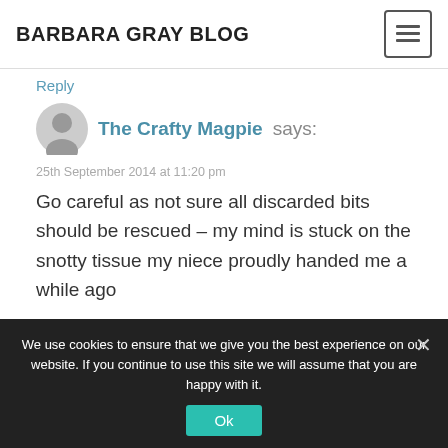BARBARA GRAY BLOG
Reply
The Crafty Magpie says:
25th September 2014 at 11:20 pm
Go careful as not sure all discarded bits should be rescued – my mind is stuck on the snotty tissue my niece proudly handed me a while ago
We use cookies to ensure that we give you the best experience on our website. If you continue to use this site we will assume that you are happy with it.